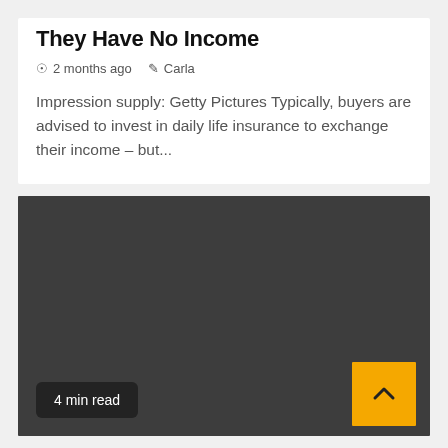They Have No Income
2 months ago   Carla
Impression supply: Getty Pictures Typically, buyers are advised to invest in daily life insurance to exchange their income – but...
[Figure (photo): Dark gray placeholder image block with a '4 min read' badge at bottom left and a yellow upward-arrow button at bottom right]